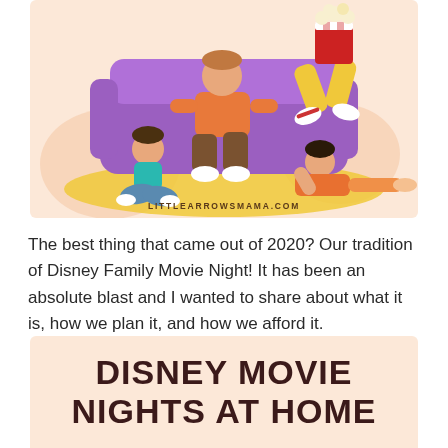[Figure (illustration): Cartoon illustration of a family watching a movie: an adult sitting on a purple couch holding a large red popcorn bucket with yellow pants and striped socks, a child sitting cross-legged on a yellow rug on the floor wearing a teal shirt, and a girl lying on the floor wearing an orange outfit. Peach/salmon background with blob shapes. Watermark reads LITTLEARROWSMAMA.COM at the bottom.]
The best thing that came out of 2020? Our tradition of Disney Family Movie Night! It has been an absolute blast and I wanted to share about what it is, how we plan it, and how we afford it.
DISNEY MOVIE NIGHTS AT HOME